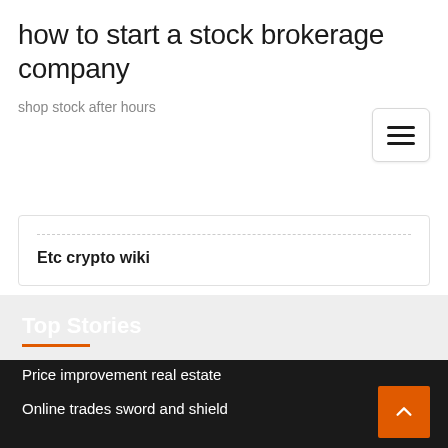how to start a stock brokerage company
shop stock after hours
Etc crypto wiki
Top Stories
Price improvement real estate
Online trades sword and shield